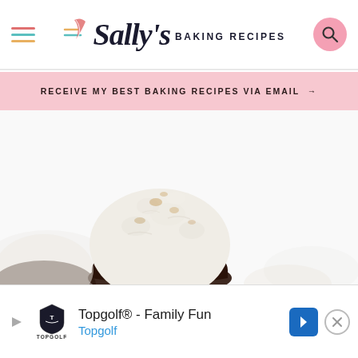Sally's Baking Recipes
RECEIVE MY BEST BAKING RECIPES VIA EMAIL →
[Figure (photo): Close-up of a coconut macaroon with chocolate base on a white background]
[Figure (infographic): Topgolf advertisement banner: Topgolf® - Family Fun, Topgolf logo with shield, blue arrow navigation button, and close button]